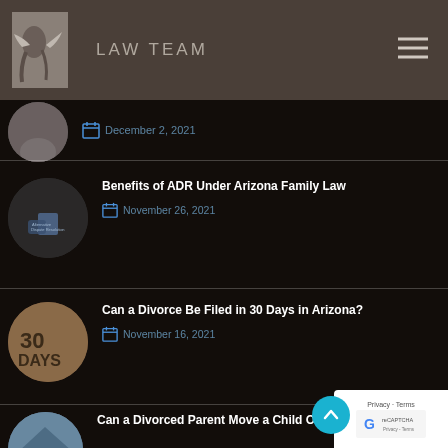LAW TEAM
December 2, 2021
Benefits of ADR Under Arizona Family Law
November 26, 2021
Can a Divorce Be Filed in 30 Days in Arizona?
November 16, 2021
Can a Divorced Parent Move a Child Out of State in Arizona?